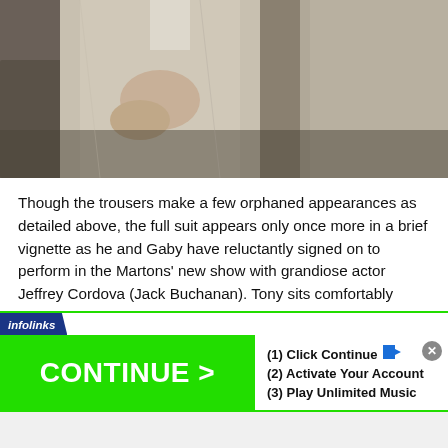[Figure (photo): Close-up photograph of people in suits, showing torsos and hands, with a person in a light gray suit visible.]
Though the trousers make a few orphaned appearances as detailed above, the full suit appears only once more in a brief vignette as he and Gaby have reluctantly signed on to perform in the Martons' new show with grandiose actor Jeffrey Cordova (Jack Buchanan). Tony sits comfortably crouched in his front-row seat wearing this light gray flannel double-breasted suit and his usual light blue button-down shirt, but he has substituted the blue tie and straw boater for a brown striped bow tie and a dark taupe fedora with a narrow band.
[Figure (infographic): Advertisement banner with infolinks label, green CONTINUE > button, and three steps: (1) Click Continue, (2) Activate Your Account, (3) Play Unlimited Music]